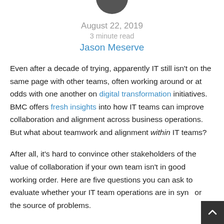[Figure (photo): Circular avatar/profile photo partially visible at top center of page]
August 22, 2019
3 minute read
Jason Meserve
Even after a decade of trying, apparently IT still isn't on the same page with other teams, often working around or at odds with one another on digital transformation initiatives. BMC offers fresh insights into how IT teams can improve collaboration and alignment across business operations. But what about teamwork and alignment within IT teams?
After all, it's hard to convince other stakeholders of the value of collaboration if your own team isn't in good working order. Here are five questions you can ask to evaluate whether your IT team operations are in sync or the source of problems.